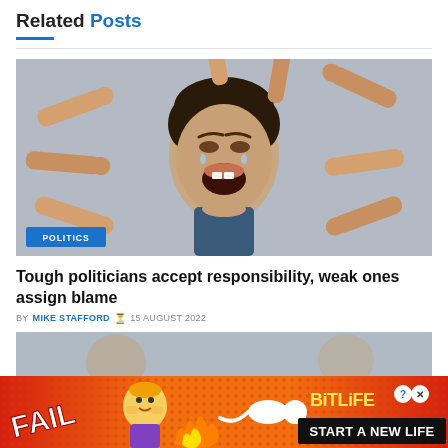Related Posts
[Figure (photo): A crying child surrounded by pointing fingers from multiple directions, with a blue 'POLITICS' badge overlaid in the bottom-left corner]
Tough politicians accept responsibility, weak ones assign blame
BY MIKE STAFFORD  15 AUGUST 2022
[Figure (photo): Partial view of a second article image showing blurred faces]
[Figure (infographic): BitLife advertisement banner with 'FAIL' text, cartoon character, flame graphic, BitLife logo, and 'START A NEW LIFE' text on red/orange background]